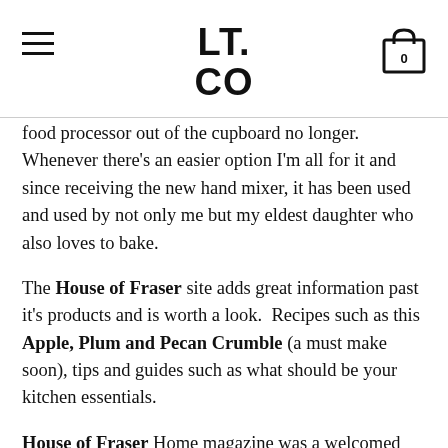LT. CO
food processor out of the cupboard no longer.  Whenever there’s an easier option I’m all for it and since receiving the new hand mixer, it has been used and used by not only me but my eldest daughter who also loves to bake.
The House of Fraser site adds great information past it’s products and is worth a look.  Recipes such as this Apple, Plum and Pecan Crumble (a must make soon), tips and guides such as what should be your kitchen essentials.
House of Fraser Home magazine was a welcomed browse after opening up my delivery box.  I was impressed with it’s content.  The on-style interiors and articles within were a good read and not just a flick through.  House of Fraser also have an app where you can search videos and style tips and even more recipes!  It’s lovely to know this large, well established brand is giving back to it’s clients with